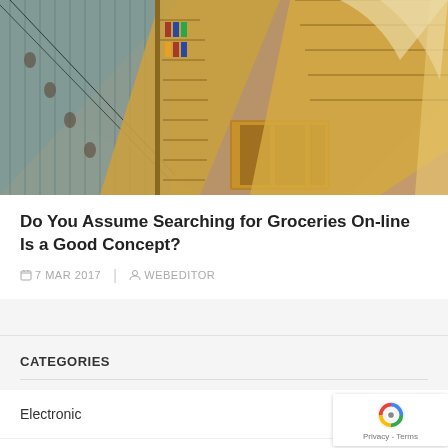[Figure (photo): Aerial view of a grocery/retail store interior showing store shelves with products, wooden floor, and escalators visible from above]
Do You Assume Searching for Groceries On-line Is a Good Concept?
7 MAR 2017  |  WEBEDITOR
CATEGORIES
Electronic